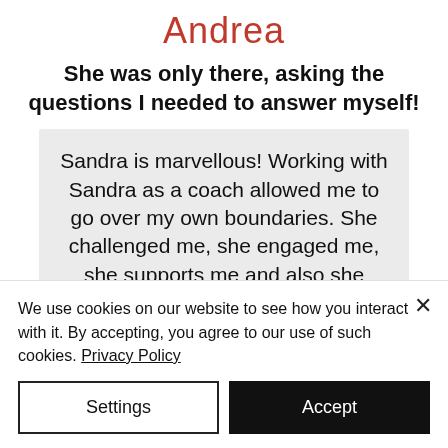Andrea
She was only there, asking the questions I needed to answer myself!
Sandra is marvellous! Working with Sandra as a coach allowed me to go over my own boundaries. She challenged me, she engaged me, she supports me and also she helped me to be in contact with certain areas of myself that I didn't contact for
We use cookies on our website to see how you interact with it. By accepting, you agree to our use of such cookies. Privacy Policy